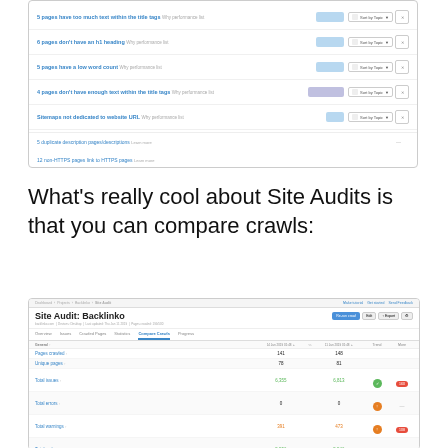[Figure (screenshot): Screenshot of an SEO site audit tool showing a list of issues: pages have too much text within the title tags, pages don't have an h1 heading, pages have a low word count, pages don't have enough text within the title tags, sitemaps not dedicated to website URL, and other crawl/HTTPS related issues. Each row shows a count badge and a 'Sort by Topic' button.]
What's really cool about Site Audits is that you can compare crawls:
[Figure (screenshot): Screenshot of a Site Audit: Backlinko interface showing the Compare Crawls tab. The General section shows rows for Pages crawled, Unique pages, Total issues, Total errors, Total warnings, and Total notices — comparing two crawl dates side by side with trend badges (green/red circles and red pills for changes).]